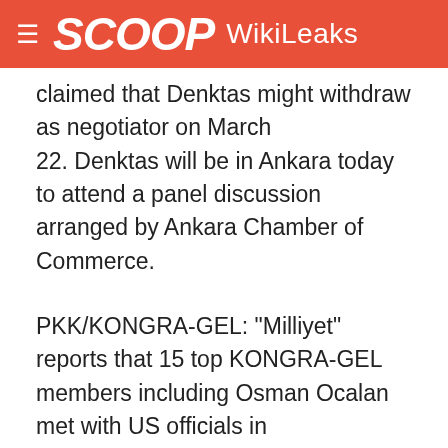SCOOP WikiLeaks
claimed that Denktas might withdraw as negotiator on March 22. Denktas will be in Ankara today to attend a panel discussion arranged by Ankara Chamber of Commerce.
PKK/KONGRA-GEL: "Milliyet" reports that 15 top KONGRA-GEL members including Osman Ocalan met with US officials in Mosul. The article claims that Ocalan asked the US officials to allow him and his colleagues to continue their